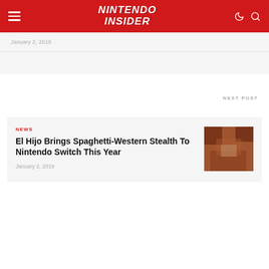NINTENDO INSIDER
January 2, 2019
NEXT POST
NEWS
El Hijo Brings Spaghetti-Western Stealth To Nintendo Switch This Year
January 2, 2019
[Figure (photo): A warm-toned photo showing a Nintendo Switch or gaming device being held/played, with reddish-brown color grading.]